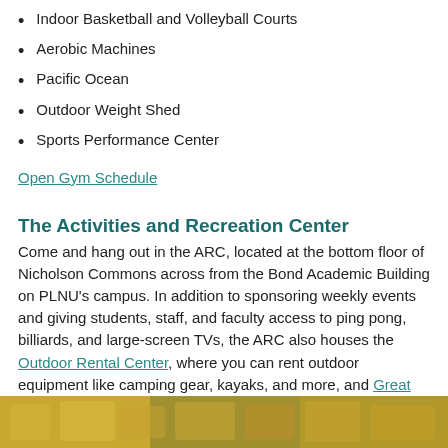Indoor Basketball and Volleyball Courts
Aerobic Machines
Pacific Ocean
Outdoor Weight Shed
Sports Performance Center
Open Gym Schedule
The Activities and Recreation Center
Come and hang out in the ARC, located at the bottom floor of Nicholson Commons across from the Bond Academic Building on PLNU's campus. In addition to sponsoring weekly events and giving students, staff, and faculty access to ping pong, billiards, and large-screen TVs, the ARC also houses the Outdoor Rental Center, where you can rent outdoor equipment like camping gear, kayaks, and more, and Great Escapes Adventures trip information and sign-ups.
[Figure (photo): A photo strip at the bottom of the page showing people engaged in outdoor or recreational activities.]